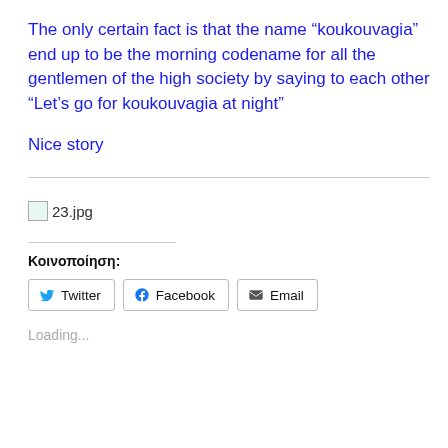The only certain fact is that the name “koukouvagia” end up to be the morning codename for all the gentlemen of the high society by saying to each other “Let’s go for koukouvagia at night”
Nice story
[Figure (photo): Broken image placeholder showing '23.jpg']
Κοινοποίηση:
Twitter  Facebook  Email
Loading...